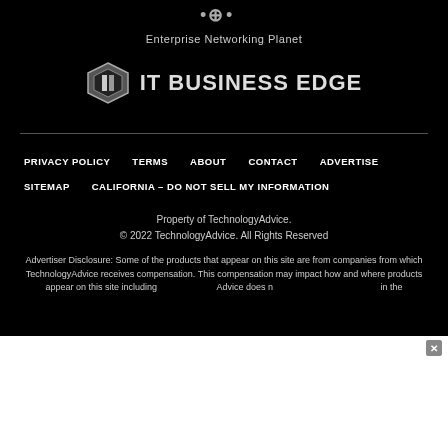[Figure (logo): Enterprise Networking Planet logo icon with text below]
Enterprise Networking Planet
[Figure (logo): IT Business Edge logo with hexagonal icon and bold text]
PRIVACY POLICY
TERMS
ABOUT
CONTACT
ADVERTISE
SITEMAP
CALIFORNIA – DO NOT SELL MY INFORMATION
Property of TechnologyAdvice.
© 2022 TechnologyAdvice. All Rights Reserved
Advertiser Disclosure: Some of the products that appear on this site are from companies from which TechnologyAdvice receives compensation. This compensation may impact how and where products appear on this site including does not in the